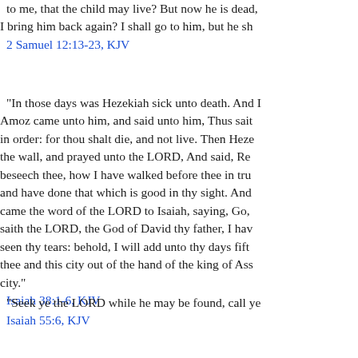to me, that the child may live? But now he is dead, I bring him back again? I shall go to him, but he sh
2 Samuel 12:13-23, KJV
“In those days was Hezekiah sick unto death. And I Amoz came unto him, and said unto him, Thus sait in order: for thou shalt die, and not live. Then Heze the wall, and prayed unto the LORD, And said, Re beseech thee, how I have walked before thee in tru and have done that which is good in thy sight. And came the word of the LORD to Isaiah, saying, Go, saith the LORD, the God of David thy father, I hav seen thy tears: behold, I will add unto thy days fift thee and this city out of the hand of the king of Ass city.”
Isaiah 38:1-6, KJV
“Seek ye the LORD while he may be found, call ye
Isaiah 55:6, KJV